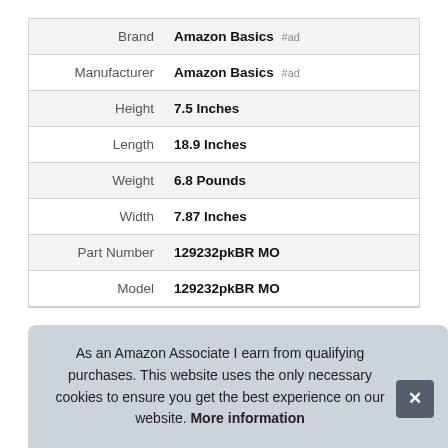| Attribute | Value |
| --- | --- |
| Brand | Amazon Basics #ad |
| Manufacturer | Amazon Basics #ad |
| Height | 7.5 Inches |
| Length | 18.9 Inches |
| Weight | 6.8 Pounds |
| Width | 7.87 Inches |
| Part Number | 129232pkBR MO |
| Model | 129232pkBR MO |
As an Amazon Associate I earn from qualifying purchases. This website uses the only necessary cookies to ensure you get the best experience on our website. More information